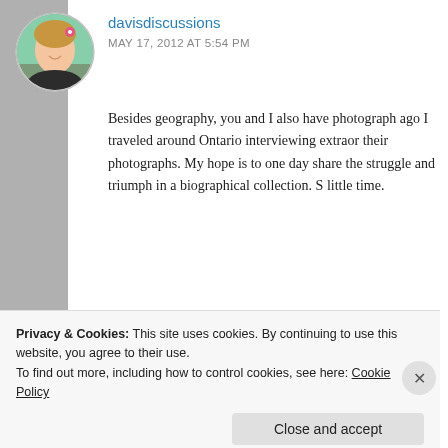[Figure (photo): Circular avatar photo of a woman with a pink flower in her hair, smiling outdoors]
davisdiscussions
MAY 17, 2012 AT 5:54 PM
Besides geography, you and I also have photograph... ago I traveled around Ontario interviewing extraor... their photographs. My hope is to one day share the... struggle and triumph in a biographical collection. S... little time.
★ Like
Log in to Reply
Privacy & Cookies: This site uses cookies. By continuing to use this website, you agree to their use.
To find out more, including how to control cookies, see here: Cookie Policy
Close and accept